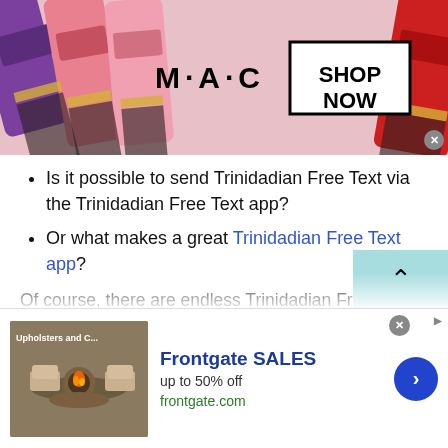[Figure (photo): MAC Cosmetics advertisement banner with colorful lipsticks on the left and right, MAC logo in center, SHOP NOW button in a box]
Is it possible to send Trinidadian Free Text via the Trinidadian Free Text app?
Or what makes a great Trinidadian Free Text app?
Of course, there are endless Trinidadian Free Text apps available on the internet where you need to find the one that best suits your priorities. Some of the Trinidadian Free Text apps are designed to deliver user security or privacy in mind. However, some apps emphasize quality communication by delivering voice or video calling.
[Figure (photo): Frontgate SALES advertisement showing outdoor furniture with a fire pit, text says up to 50% off, frontgate.com, with a blue arrow button]